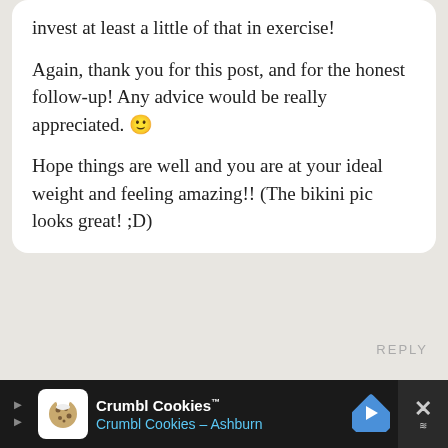invest at least a little of that in exercise!
Again, thank you for this post, and for the honest follow-up! Any advice would be really appreciated. 🙂
Hope things are well and you are at your ideal weight and feeling amazing!! (The bikini pic looks great! ;D)
REPLY
[Figure (photo): Circular avatar photo of a blonde woman named Alex]
Alex
May 12 2017
Ha okay well I have to
[Figure (other): Crumbl Cookies advertisement banner at the bottom of the page showing logo, brand name, and Ashburn location]